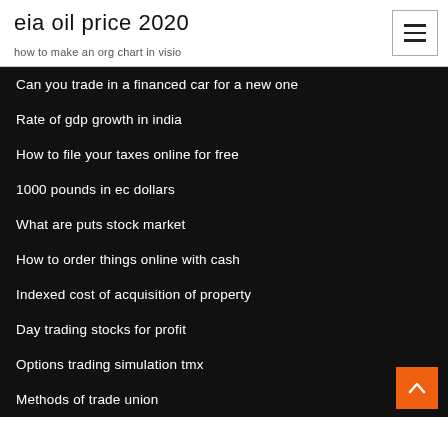eia oil price 2020
how to make an org chart in visio
Can you trade in a financed car for a new one
Rate of gdp growth in india
How to file your taxes online for free
1000 pounds in ec dollars
What are puts stock market
How to order things online with cash
Indexed cost of acquisition of property
Day trading stocks for profit
Options trading simulation tmx
Methods of trade union